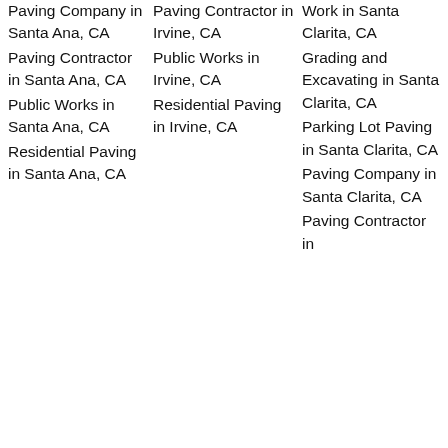Paving Company in Santa Ana, CA
Paving Contractor in Santa Ana, CA
Public Works in Santa Ana, CA
Residential Paving in Santa Ana, CA
Paving Contractor in Irvine, CA
Public Works in Irvine, CA
Residential Paving in Irvine, CA
Work in Santa Clarita, CA
Grading and Excavating in Santa Clarita, CA
Parking Lot Paving in Santa Clarita, CA
Paving Company in Santa Clarita, CA
Paving Contractor in